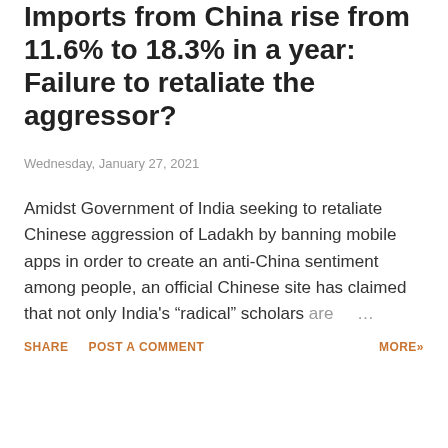Imports from China rise from 11.6% to 18.3% in a year: Failure to retaliate the aggressor?
Wednesday, January 27, 2021
Amidst Government of India seeking to retaliate Chinese aggression of Ladakh by banning mobile apps in order to create an anti-China sentiment among people, an official Chinese site has claimed that not only India’s “radical” scholars are …
SHARE
POST A COMMENT
MORE»